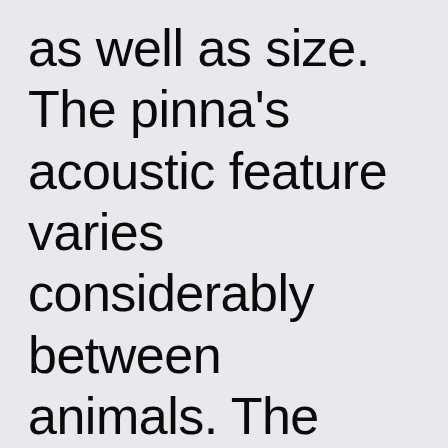as well as size. The pinna's acoustic feature varies considerably between animals. The pinna is pushed toward a sound resource in